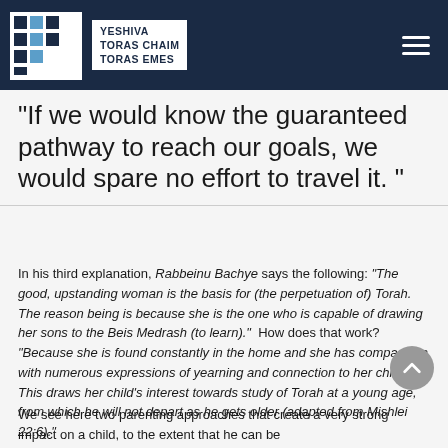YESHIVA TORAS CHAIM TORAS EMES
"If we would know the guaranteed pathway to reach our goals, we would spare no effort to travel it. "
In his third explanation, Rabbeinu Bachye says the following: "The good, upstanding woman is the basis for (the perpetuation of) Torah. The reason being is because she is the one who is capable of drawing her sons to the Beis Medrash (to learn)." How does that work? "Because she is found constantly in the home and she has compassion with numerous expressions of yearning and connection to her children. This draws her child's interest towards study of Torah at a young age, from which he will not depart as he gets older (adapted from Mishlei 22:6)."
We see here two parenting approaches that create a very strong impact on a child, to the extent that he can be